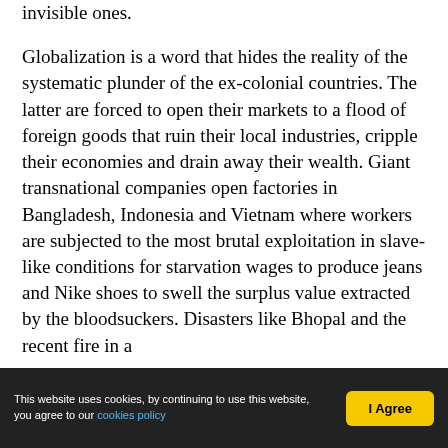invisible ones.
Globalization is a word that hides the reality of the systematic plunder of the ex-colonial countries. The latter are forced to open their markets to a flood of foreign goods that ruin their local industries, cripple their economies and drain away their wealth. Giant transnational companies open factories in Bangladesh, Indonesia and Vietnam where workers are subjected to the most brutal exploitation in slave-like conditions for starvation wages to produce jeans and Nike shoes to swell the surplus value extracted by the bloodsuckers. Disasters like Bhopal and the recent fire in a
This website uses cookies, by continuing to use this website, you agree to our cookies policy | I Agree